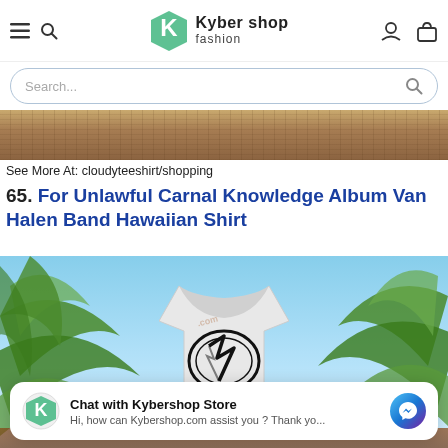Kyber Shop Fashion — navigation header with hamburger menu, search icon, logo, user icon, cart icon
Search...
[Figure (photo): Wooden table surface background strip]
See More At: cloudyteeshirt/shopping
65. For Unlawful Carnal Knowledge Album Van Halen Band Hawaiian Shirt
[Figure (photo): Hawaiian shirt product image featuring Van Halen logo with palm leaves and tropical sky background]
Chat with Kybershop Store
Hi, how can Kybershop.com assist you ? Thank yo...